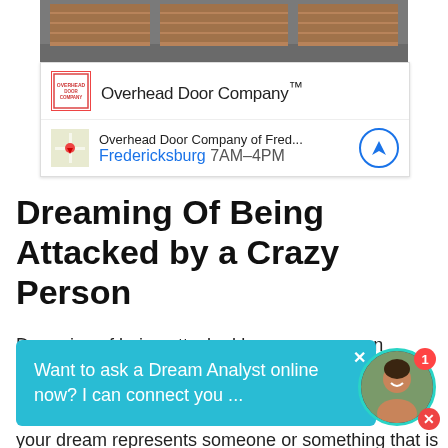[Figure (photo): Overhead garage doors photo at top of page]
[Figure (screenshot): Overhead Door Company advertisement card with logo, brand name, map thumbnail, location 'Overhead Door Company of Fred... Fredericksburg 7AM-4PM' and navigation button]
Dreaming Of Being Attacked by a Crazy Person
Dreaming of being attacked by a crazy person suggests that you are feeling overwhelmed and out of control in your waking life. The crazy person in your dream represents someone or something that is out
[Figure (screenshot): Chat popup widget: 'Want to ask a Dream Analyst online now? I can connect you ...' with close button, and avatar of a woman with notification badge showing 1 and close button]